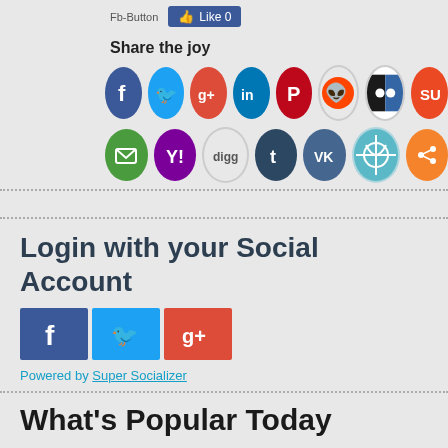[Figure (screenshot): Fb-Button image placeholder and Facebook Like button showing 0 likes]
Share the joy
[Figure (infographic): Two rows of social media share buttons: Row 1: Facebook, Twitter, Google+, LinkedIn, Pinterest, Reddit, ShareThis (black/blue), StumbleUpon. Row 2: Email, Yahoo, Digg, Tumblr, VK, WebSite.pk, Share (orange).]
Login with your Social Account
[Figure (screenshot): Social login buttons: Facebook (blue f), Twitter (blue bird), Google+ (red g+)]
Powered by Super Socializer
What's Popular Today